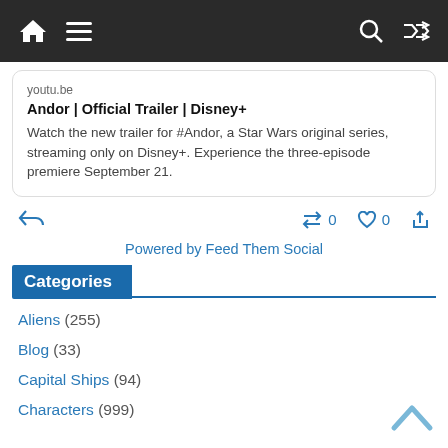Navigation bar with home, menu, search, and shuffle icons
youtu.be
Andor | Official Trailer | Disney+
Watch the new trailer for #Andor, a Star Wars original series, streaming only on Disney+. Experience the three-episode premiere September 21.
Retweet: 0  Like: 0
Powered by Feed Them Social
Categories
Aliens (255)
Blog (33)
Capital Ships (94)
Characters (999)